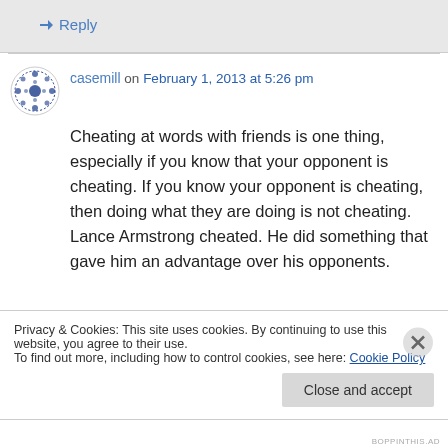↳ Reply
casemill on February 1, 2013 at 5:26 pm
Cheating at words with friends is one thing, especially if you know that your opponent is cheating. If you know your opponent is cheating, then doing what they are doing is not cheating. Lance Armstrong cheated. He did something that gave him an advantage over his opponents.
Privacy & Cookies: This site uses cookies. By continuing to use this website, you agree to their use.
To find out more, including how to control cookies, see here: Cookie Policy
Close and accept
BOPPINTHIS.AD